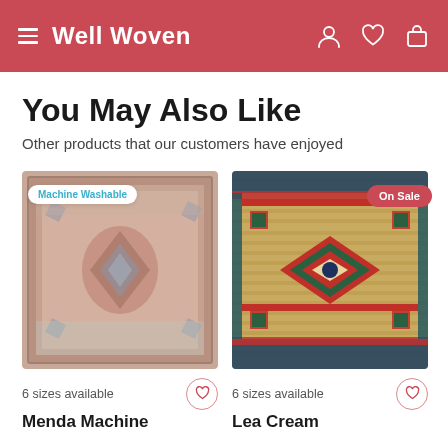Well Woven
You May Also Like
Other products that our customers have enjoyed
[Figure (photo): Persian-style machine washable rug with blue and pink medallion pattern, labeled 'Machine Washable']
6 sizes available
Menda Machine
[Figure (photo): Southwestern-style rug with geometric diamond pattern in red, green, and beige, labeled 'On Sale']
6 sizes available
Lea Cream